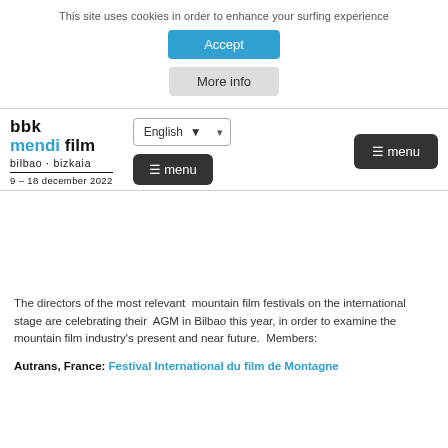This site uses cookies in order to enhance your surfing experience
Accept
More info
[Figure (logo): bbk mendi film bilbao · bizkaia 9 – 18 december 2022 logo]
English ▾
≡ menu
≡ menu
The directors of the most relevant  mountain film festivals on the international stage are celebrating their  AGM in Bilbao this year, in order to examine the mountain film industry's present and near future.  Members:
Autrans, France: Festival International du film de Montagne